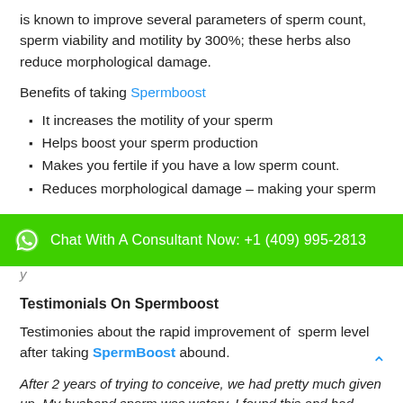is known to improve several parameters of sperm count, sperm viability and motility by 300%; these herbs also reduce morphological damage.
Benefits of taking Spermboost
It increases the motility of your sperm
Helps boost your sperm production
Makes you fertile if you have a low sperm count.
Reduces morphological damage – making your sperm
[Figure (other): Green chat bar with WhatsApp icon: Chat With A Consultant Now: +1 (409) 995-2813]
Testimonials On Spermboost
Testimonies about the rapid improvement of sperm level after taking SpermBoost abound.
After 2 years of trying to conceive, we had pretty much given up. My husband sperm was watery, I found this and had thought it wouldn't hurt to try. After 2 1/2 months of my husband using am 4.5 weeks pregnant! Wonderful supplement. My husband said